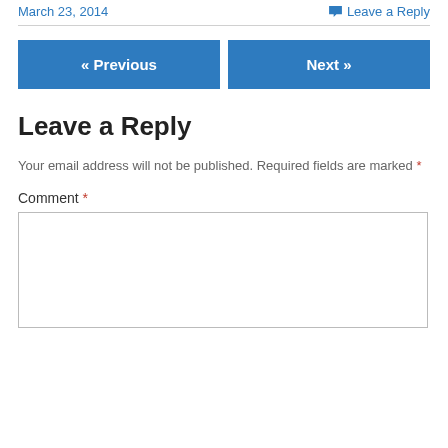March 23, 2014
Leave a Reply
« Previous
Next »
Leave a Reply
Your email address will not be published. Required fields are marked *
Comment *